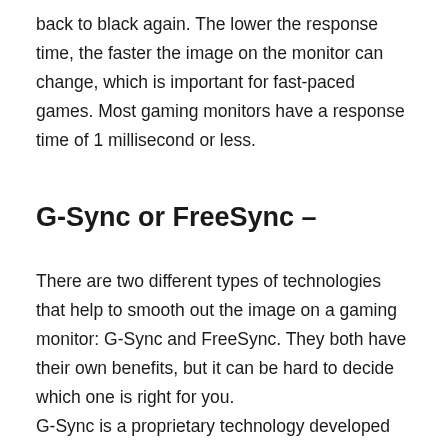back to black again. The lower the response time, the faster the image on the monitor can change, which is important for fast-paced games. Most gaming monitors have a response time of 1 millisecond or less.
G-Sync or FreeSync –
There are two different types of technologies that help to smooth out the image on a gaming monitor: G-Sync and FreeSync. They both have their own benefits, but it can be hard to decide which one is right for you.
G-Sync is a proprietary technology developed by Nvidia. It requires a special hardware module to be